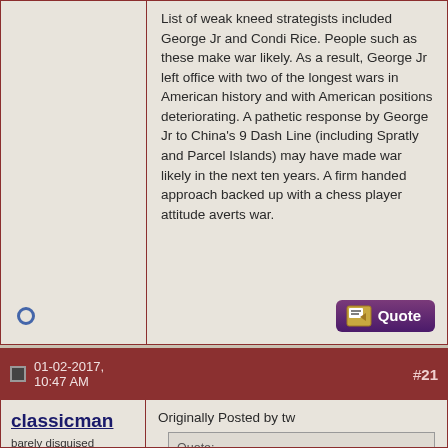List of weak kneed strategists included George Jr and Condi Rice. People such as these make war likely. As a result, George Jr left office with two of the longest wars in American history and with American positions deteriorating. A pathetic response by George Jr to China's 9 Dash Line (including Spratly and Parcel Islands) may have made war likely in the next ten years. A firm handed approach backed up with a chess player attitude averts war.
01-02-2017, 10:47 AM
#21
classicman
barely disguised asshole, keeper of all that is holy.
Join Date: Nov 2007
Posts: 23,401
Originally Posted by tw
Quote:
"the red line."
Bwahahahahahahahahaaaaaaaaaaaaaaaaaaa!!! Stop please, I can't breathe while laughing this hard and I have to wipe the coffee off my